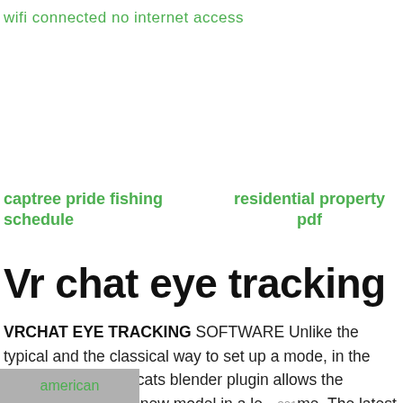wifi connected no internet access
captree pride fishing schedule
residential property pdf
Vr chat eye tracking
VRCHAT EYE TRACKING SOFTWARE Unlike the typical and the classical way to set up a mode, in the VRchat game, the cats blender plugin allows the gamers to form the new model in a less time. The latest cats blender plugin allows
american